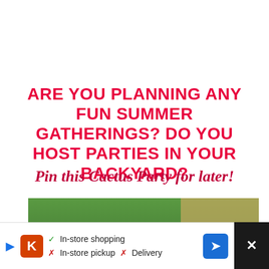ARE YOU PLANNING ANY FUN SUMMER GATHERINGS? DO YOU HOST PARTIES IN YOUR BACKYARD?
Pin this Cactus Party for later!
[Figure (photo): Outdoor backyard party table with water bottles, green pitcher, small cacti in pots, orange dish with food on stand, brown bowl with dip, and Pringles cans, with wooden fence and greenery in background]
[Figure (infographic): Ad banner showing Kroger store logo with in-store shopping check, in-store pickup X, Delivery X, navigation arrow icon, and dark panel with X icon]